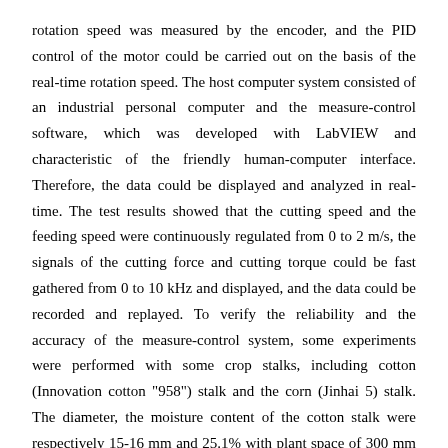rotation speed was measured by the encoder, and the PID control of the motor could be carried out on the basis of the real-time rotation speed. The host computer system consisted of an industrial personal computer and the measure-control software, which was developed with LabVIEW and characteristic of the friendly human-computer interface. Therefore, the data could be displayed and analyzed in real-time. The test results showed that the cutting speed and the feeding speed were continuously regulated from 0 to 2 m/s, the signals of the cutting force and cutting torque could be fast gathered from 0 to 10 kHz and displayed, and the data could be recorded and replayed. To verify the reliability and the accuracy of the measure-control system, some experiments were performed with some crop stalks, including cotton (Innovation cotton "958") stalk and the corn (Jinhai 5) stalk. The diameter, the moisture content of the cotton stalk were respectively 15-16 mm and 25.1% with plant space of 300 mm and row space of 600 mm. The diameter, the moisture content of the corn stalk were respectively 23-25 mm and 70.4% with plant space of 210 mm and row space of 600 mm. It was found that the peak cutting force and the peak torque for the cutting stalk decreased with the increase of the cutting speed when the cutting ratio